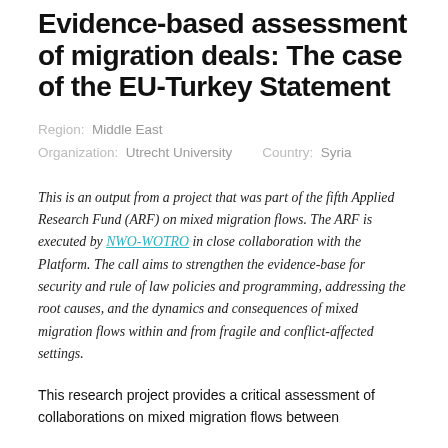Evidence-based assessment of migration deals: The case of the EU-Turkey Statement
Region: Middle East   Organization: Utrecht University   Country: Syria
This is an output from a project that was part of the fifth Applied Research Fund (ARF) on mixed migration flows. The ARF is executed by NWO-WOTRO in close collaboration with the Platform. The call aims to strengthen the evidence-base for security and rule of law policies and programming, addressing the root causes, and the dynamics and consequences of mixed migration flows within and from fragile and conflict-affected settings.
This research project provides a critical assessment of collaborations on mixed migration flows between